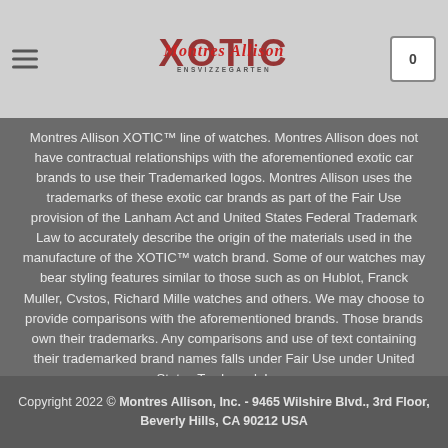Montres Allison XOTIC - Header with logo and cart
Montres Allison XOTIC™ line of watches. Montres Allison does not have contractual relationships with the aforementioned exotic car brands to use their Trademarked logos. Montres Allison uses the trademarks of these exotic car brands as part of the Fair Use provision of the Lanham Act and United States Federal Trademark Law to accurately describe the origin of the materials used in the manufacture of the XOTIC™ watch brand. Some of our watches may bear styling features similar to those such as on Hublot, Franck Muller, Cvstos, Richard Mille watches and others. We may choose to provide comparisons with the aforementioned brands. Those brands own their trademarks. Any comparisons and use of text containing their trademarked brand names falls under Fair Use under United States Trademark Law.
Copyright 2022 © Montres Allison, Inc. - 9465 Wilshire Blvd., 3rd Floor, Beverly Hills, CA 90212 USA